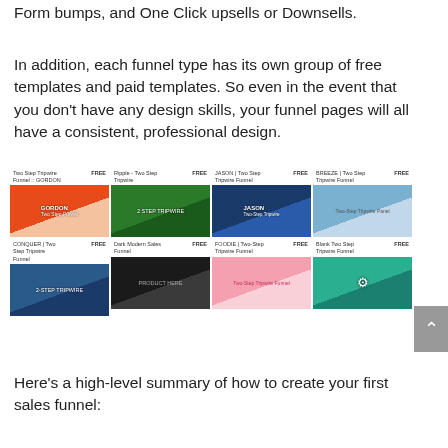Form bumps, and One Click upsells or Downsells.
In addition, each funnel type has its own group of free templates and paid templates. So even in the event that you don't have any design skills, your funnel pages will all have a consistent, professional design.
[Figure (screenshot): Grid of 8 funnel template screenshots, each labeled FREE. Top row: Two Step Tripwire Funnel - GORDON, Ripple - Two Step Tripwire, JASON Two Step Tripwire Funnel, BREEZE Two Step Tripwire Funnel. Bottom row: CONQUER Two Step Tripwire Funnel, Dark Modern Sales Funnel, FOODIE Two-Step Tripwire Funnel, Blank Two Step Tripwire Funnel.]
Here's a high-level summary of how to create your first sales funnel: